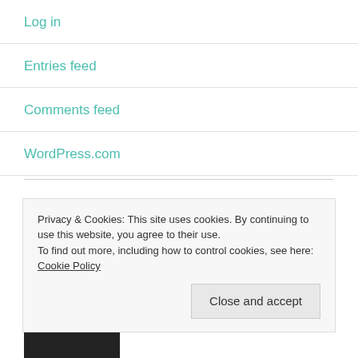Log in
Entries feed
Comments feed
WordPress.com
FOLLOW SCAMPI & PETER VIA EMAIL
Enter your email address to follow this mumbojumbo
Privacy & Cookies: This site uses cookies. By continuing to use this website, you agree to their use.
To find out more, including how to control cookies, see here: Cookie Policy
Close and accept